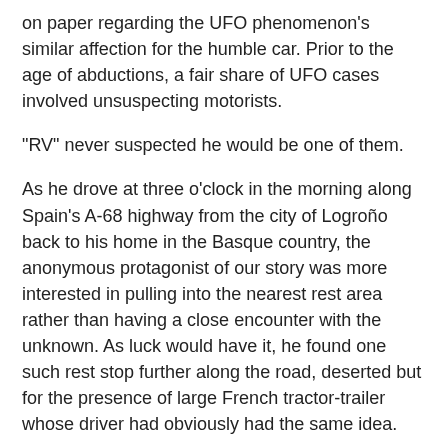on paper regarding the UFO phenomenon's similar affection for the humble car. Prior to the age of abductions, a fair share of UFO cases involved unsuspecting motorists.
"RV" never suspected he would be one of them.
As he drove at three o'clock in the morning along Spain's A-68 highway from the city of Logroño back to his home in the Basque country, the anonymous protagonist of our story was more interested in pulling into the nearest rest area rather than having a close encounter with the unknown. As luck would have it, he found one such rest stop further along the road, deserted but for the presence of large French tractor-trailer whose driver had obviously had the same idea.
"RV" parked his Citroen BX, turned off the ignition, and promptly shut his eyes, drifting off to sleep before he even knew it. Despite being a sound sleeper, "RV" was wakened by a slight buzzing sound and a bright light which he at first thought to come from another vehicle--perhaps another articulated trailer--pulling into the rest stop. The bright light gradually dimmed to extinction, and early morning darkness